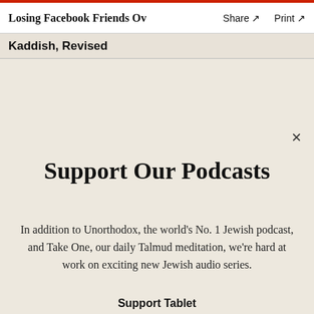Losing Facebook Friends Ov  Share ↗  Print ↗
Kaddish, Revised
Support Our Podcasts
In addition to Unorthodox, the world's No. 1 Jewish podcast, and Take One, our daily Talmud meditation, we're hard at work on exciting new Jewish audio series.
Support Tablet
$36  $50  $75